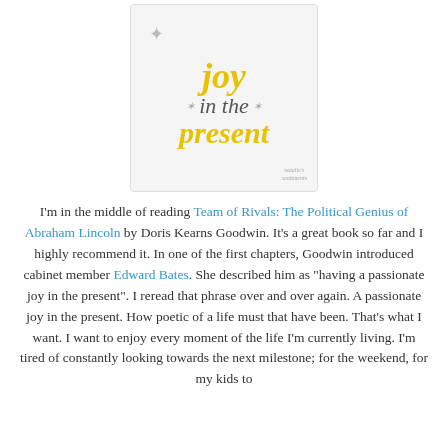[Figure (illustration): A decorative card with text 'joy in the present' — 'joy' and 'present' in yellow italic script, 'in the' in gray italic. Decorative swirl elements. Watermark: natalie's sentiments.]
I'm in the middle of reading Team of Rivals: The Political Genius of Abraham Lincoln by Doris Kearns Goodwin. It's a great book so far and I highly recommend it. In one of the first chapters, Goodwin introduced cabinet member Edward Bates. She described him as "having a passionate joy in the present". I reread that phrase over and over again. A passionate joy in the present. How poetic of a life must that have been. That's what I want. I want to enjoy every moment of the life I'm currently living. I'm tired of constantly looking towards the next milestone; for the weekend, for my kids to